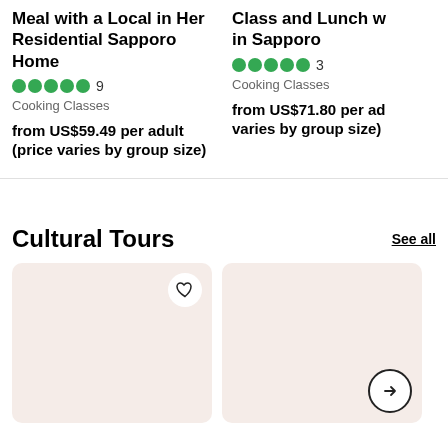Meal with a Local in Her Residential Sapporo Home
9 reviews · Cooking Classes · from US$59.49 per adult (price varies by group size)
Class and Lunch w... in Sapporo
3 reviews · Cooking Classes · from US$71.80 per adult (price varies by group size)
Cultural Tours
See all
[Figure (photo): Two product/tour cards with placeholder beige/pink backgrounds. Left card has a heart (favorite) icon button. Right card has a right-arrow navigation button.]